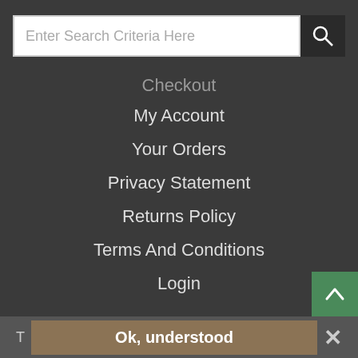[Figure (screenshot): Search bar with text input field showing placeholder 'Enter Search Criteria Here' and a dark search button with magnifying glass icon]
Checkout
My Account
Your Orders
Privacy Statement
Returns Policy
Terms And Conditions
Login
Search Tools
Advanced Search
A to Z
All Categories
Contact Us
TBS Office: Centred (partial)
Ok, understood